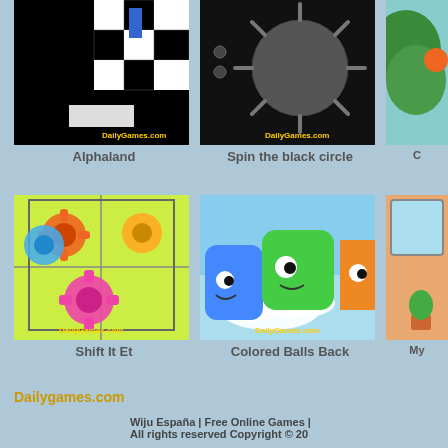[Figure (screenshot): Alphaland game thumbnail - black background with checkered pattern and blue rectangle]
Alphaland
[Figure (screenshot): Spin the black circle game thumbnail - dark background with spiky circular shape]
Spin the black circle
[Figure (screenshot): Partially visible game thumbnail on right]
[Figure (screenshot): Shift It Et game thumbnail - yellow-green background with colorful gear shapes in grid]
Shift It Et
[Figure (screenshot): Colored Balls Back game thumbnail - cute cartoon colored shapes with faces on cloudy background]
Colored Balls Back
[Figure (screenshot): Partially visible game thumbnail on right - wooden/orange interior room]
My
Dailygames.com
Wiju España | Free Online Games | All rights reserved Copyright © 20